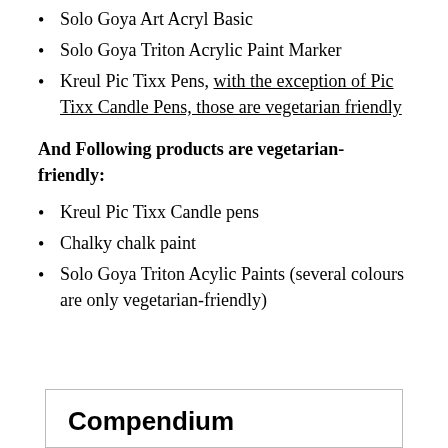Solo Goya Art Acryl Basic
Solo Goya Triton Acrylic Paint Marker
Kreul Pic Tixx Pens, with the exception of Pic Tixx Candle Pens, those are vegetarian friendly
And Following products are vegetarian-friendly:
Kreul Pic Tixx Candle pens
Chalky chalk paint
Solo Goya Triton Acylic Paints (several colours are only vegetarian-friendly)
Compendium